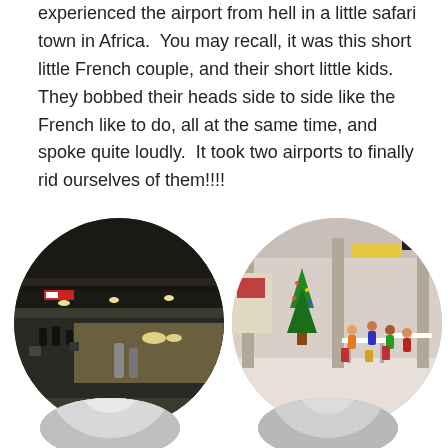experienced the airport from hell in a little safari town in Africa.  You may recall, it was this short little French couple, and their short little kids.  They bobbed their heads side to side like the French like to do, all at the same time, and spoke quite loudly.  It took two airports to finally rid ourselves of them!!!!
[Figure (photo): Circular cropped photo of an airport terminal exterior/departure drop-off area at night, with people sitting on benches, bollards, cars in the lane, and overhead canopy structure.]
[Figure (photo): Circular cropped photo of an airport terminal food court interior, with people sitting at tables and chairs, a Christmas tree visible, columns, and shops in the background.]
[Figure (photo): Partial circular cropped photo at bottom left, appears to be close-up of a circular flat object (possibly a bollard top or plate), mostly cut off.]
[Figure (photo): Partial circular cropped photo at bottom right, appears to be a surface detail, mostly cut off at the page edge.]